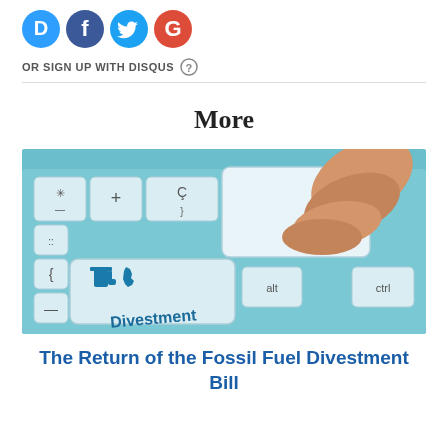[Figure (logo): Social media icon buttons: Disqus (blue D), Facebook (dark blue f), Twitter (light blue bird), Google (red G)]
OR SIGN UP WITH DISQUS ?
More
[Figure (photo): Close-up of a keyboard with a large key labeled 'Divestment' with a gas pump icon and New Jersey outline, being pressed by a finger. Other keys visible: ctrl, alt. Teal/blue toned keyboard.]
The Return of the Fossil Fuel Divestment Bill